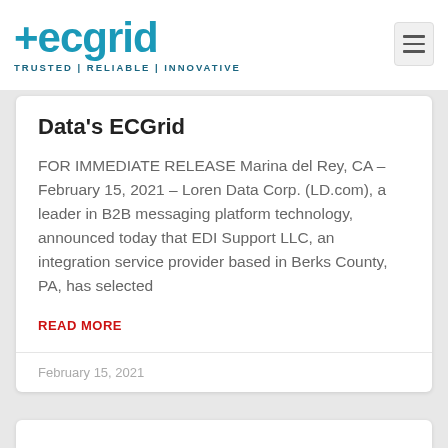#ecgrid TRUSTED | RELIABLE | INNOVATIVE
Data's ECGrid
FOR IMMEDIATE RELEASE Marina del Rey, CA – February 15, 2021 – Loren Data Corp. (LD.com), a leader in B2B messaging platform technology, announced today that EDI Support LLC, an integration service provider based in Berks County, PA, has selected
READ MORE
February 15, 2021